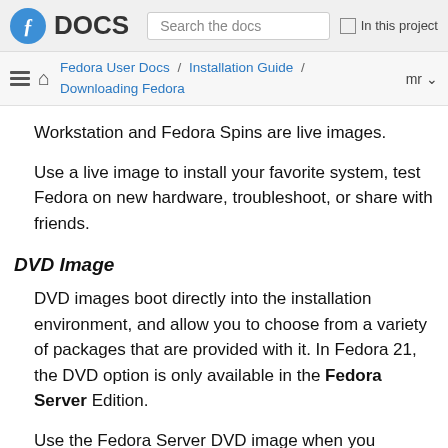Fedora DOCS | Search the docs | In this project
Fedora User Docs / Installation Guide / Downloading Fedora | mr
Workstation and Fedora Spins are live images.
Use a live image to install your favorite system, test Fedora on new hardware, troubleshoot, or share with friends.
DVD Image
DVD images boot directly into the installation environment, and allow you to choose from a variety of packages that are provided with it. In Fedora 21, the DVD option is only available in the Fedora Server Edition.
Use the Fedora Server DVD image when you